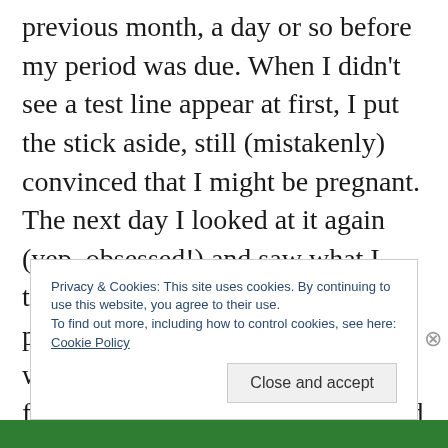previous month, a day or so before my period was due. When I didn't see a test line appear at first, I put the stick aside, still (mistakenly) convinced that I might be pregnant. The next day I looked at it again (yep, obsessed!) and saw what I thought was an extremely faint positive result line showing up, which made me wonder if it was in fact positive after all. When I called First Response to ask them, they told me that you should never read a test after the time limit specified in the instructions, and that
Privacy & Cookies: This site uses cookies. By continuing to use this website, you agree to their use.
To find out more, including how to control cookies, see here:
Cookie Policy
Close and accept